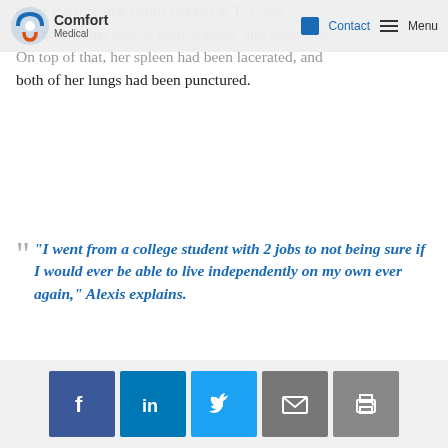Comfort Medical — Contact — Menu
burst fracture that paralyzed her at T-9. She had broken her pelvis, both scapula, and eight ribs. On top of that, her spleen had been lacerated, and both of her lungs had been punctured.
"I went from a college student with 2 jobs to not being sure if I would ever be able to live independently on my own ever again," Alexis explains.
"I was in the Saint Charles ICU for 3 weeks and then spent another month in the hospital recovering before I was transferred to in patient rehab for another month learning to adapt to my new situation."
[Figure (photo): Two images partially visible at bottom of page — left image shows blue/teal color, right image shows person]
Social share buttons: Facebook, LinkedIn, Twitter, Email, Print